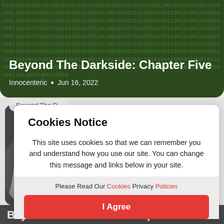[Figure (screenshot): Dark green binary code background card with title 'Beyond The Darkside: Chapter Five' and author/date metadata 'Innocenteric • Jun 16, 2022']
Beyond The Darkside: Chapter Five
Innocenteric • Jun 16, 2022
[Figure (photo): Moon photograph on black background, showing detailed crater surface]
Beyond The D
Cookies Notice
This site uses cookies so that we can remember you and understand how you use our site. You can change this message and links below in your site.
Please Read Our Cookies Privacy Policies
I Agree
Beyond The Darkside: Chapter Four